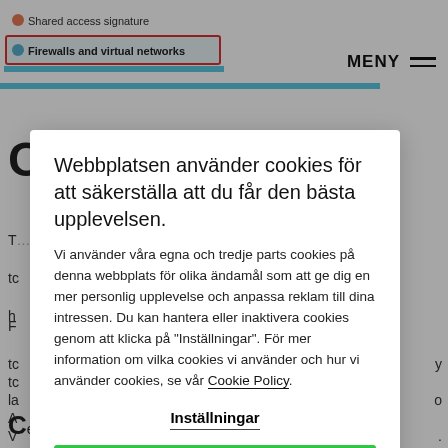[Figure (screenshot): Screenshot snippet showing Azure portal menu items: 'Shared access signature' and 'Firewalls and virtual networks' (highlighted with red border)]
MENY
Webbplatsen använder cookies för att säkerställa att du får den bästa upplevelsen. Vi använder våra egna och tredje parts cookies på denna webbplats för olika ändamål som att ge dig en mer personlig upplevelse och anpassa reklam till dina intressen. Du kan hantera eller inaktivera cookies genom att klicka på "Inställningar". För mer information om vilka cookies vi använder och hur vi använder cookies, se vår Cookie Policy.
Inställningar
ACCEPTERA ALLA